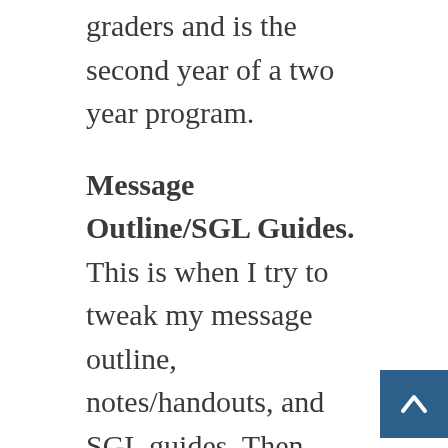graders and is the second year of a two year program.
Message Outline/SGL Guides. This is when I try to tweak my message outline, notes/handouts, and SGL guides. Then either I or our stumin director will post the SGL guide to our SGL’s Facebook group or email to those who aren’t on FB.
Then go get the kids!
Fridays
My scheduled day off is Friday. Admitted… often do some work on Fridays to catch up